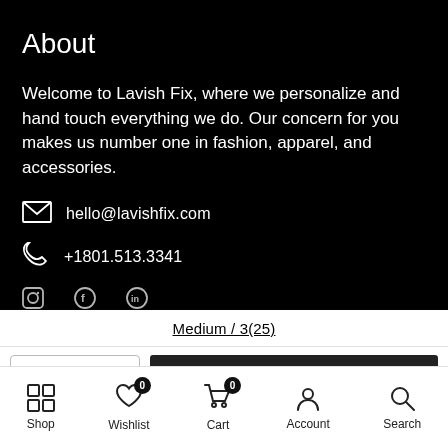About
Welcome to Lavish Fix, where we personalize and hand touch everything we do. Our concern for you makes us number one in fashion, apparel, and accessories.
hello@lavishfix.com
+1801.513.3341
Medium / 3(25)
— 1 +  ADD TO CART
Shop  Wishlist  Cart  Account  Search